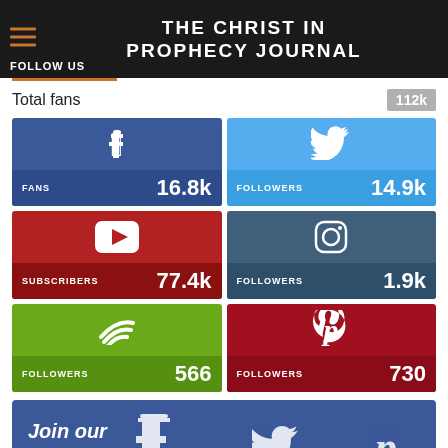THE CHRIST IN PROPHECY JOURNAL
FOLLOW US
Total fans 112k
[Figure (infographic): Social media follower counts: Facebook FANS 16.8k, Twitter FOLLOWERS 14.9k, YouTube SUBSCRIBERS 77.4k, Instagram FOLLOWERS 1.9k, Podcast/Spotify FOLLOWERS 566, Pinterest FOLLOWERS 730]
Join our